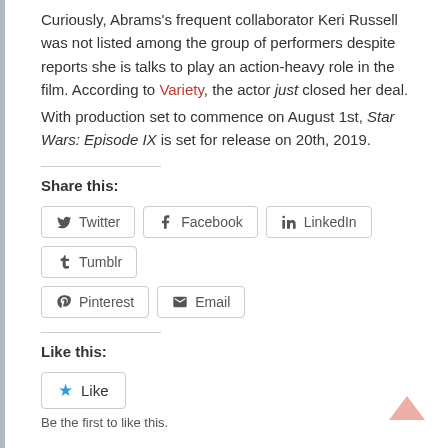Curiously, Abrams's frequent collaborator Keri Russell was not listed among the group of performers despite reports she is talks to play an action-heavy role in the film. According to Variety, the actor just closed her deal.
With production set to commence on August 1st, Star Wars: Episode IX is set for release on 20th, 2019.
Share this:
Twitter  Facebook  LinkedIn  Tumblr  Pinterest  Email
Like this:
Like
Be the first to like this.